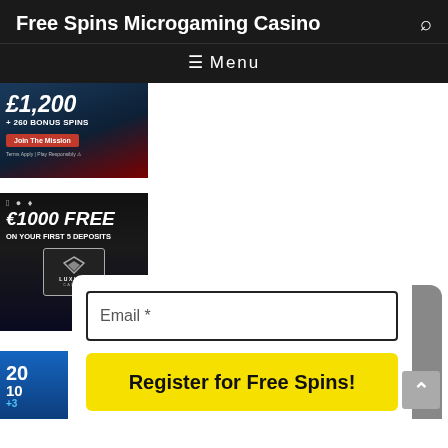Free Spins Microgaming Casino
[Figure (screenshot): Casino advertisement banner showing £1,200 + 260 Bonus Spins with Join The Mission button]
[Figure (screenshot): Luxury Casino advertisement showing €1000 FREE on your first 5 deposits with Luxury Casino logo]
[Figure (screenshot): Partial blue casino banner showing numbers 20, 10, +3]
[Figure (screenshot): Email subscription form with Email * field and Register for Free Spins! yellow button]